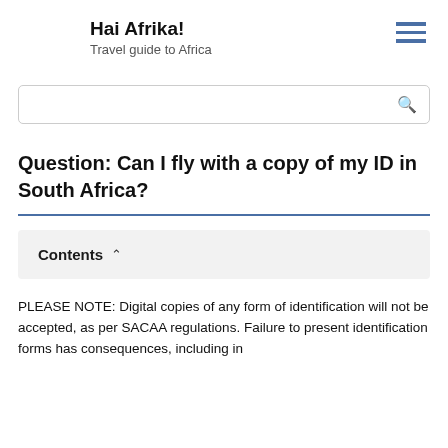Hai Afrika! Travel guide to Africa
[Figure (other): Search bar with magnifying glass icon]
Question: Can I fly with a copy of my ID in South Africa?
Contents
PLEASE NOTE: Digital copies of any form of identification will not be accepted, as per SACAA regulations. Failure to present identification forms has consequences, including in…